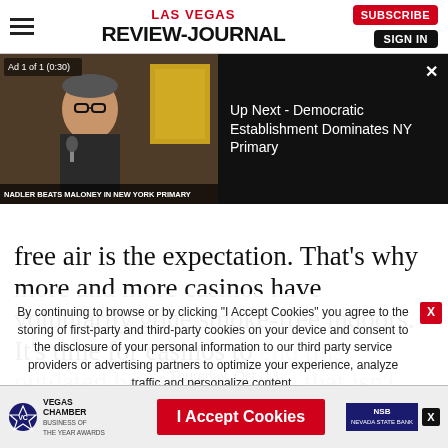LAS VEGAS REVIEW-JOURNAL
[Figure (screenshot): Video player showing Nadler Beats Maloney In New York Primary with 'Up Next - Democratic Establishment Dominates NY Primary' sidebar. Ad 1 of 1 (0:30) badge visible.]
free air is the expectation. That’s why more and more casinos have voluntarily gone smoke-free indoors. It’s time for casinos to end this outdated business practice that isn’t actually helping their bottom line. Legislators should act immediately.
By continuing to browse or by clicking “I Accept Cookies” you agree to the storing of first-party and third-party cookies on your device and consent to the disclosure of your personal information to our third party service providers or advertising partners to optimize your experience, analyze traffic and personalize content.
Thursday, Oct. 13
[Figure (screenshot): Bottom ad bar with Vegas Chamber Business of the Year Awards logo, I Accept Cookies red button, and NSB Nevada State Bank logo.]